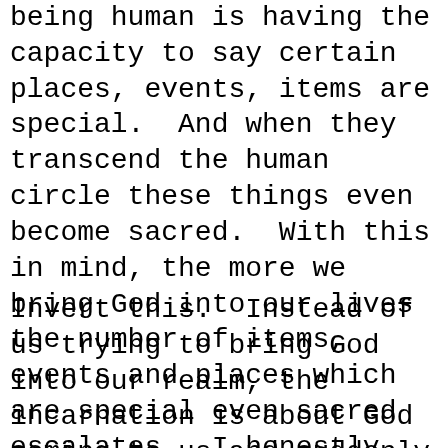being human is having the capacity to say certain places, events, items are special.  And when they transcend the human circle these things even become sacred.  With this in mind, the more we bring God into our lives the number of items, events and places which are special even sacred escalates.  I honestly couldn't even begin to make a list of the holy places, people, events, or items which are sacred to me.
Invert this.  Instead of us trying to bring God into our realm, the incarnation is about God coming to us and suddenly we find Jesus who says, there really is something good about humanity.  Human life matters.   So in